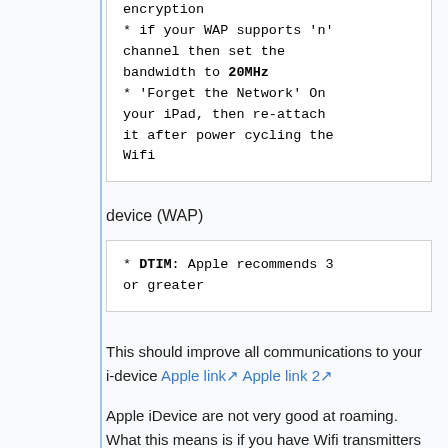* if your WAP supports 'n' channel then set the bandwidth to 20MHz
* 'Forget the Network' On your iPad, then re-attach it after power cycling the Wifi
device (WAP)
* DTIM: Apple recommends 3 or greater
This should improve all communications to your i-device Apple link Apple link 2
Apple iDevice are not very good at roaming. What this means is if you have Wifi transmitters it will hold on to it last one until the signal is below 1%. SO you